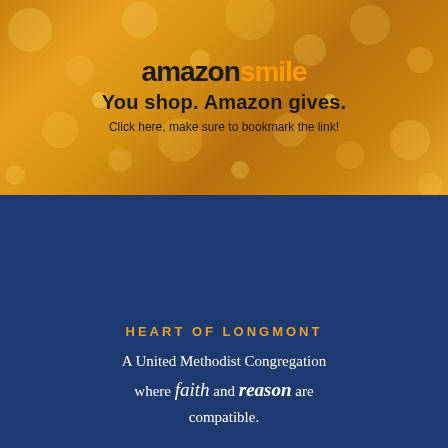[Figure (illustration): Amazon Smile promotional banner with bokeh golden light background. Shows Amazon Smile logo, tagline 'You shop. Amazon gives.' and text 'Click here, make sure to bookmark the link!']
HEART OF LONGMONT
A United Methodist Congregation where faith and reason are compatible.